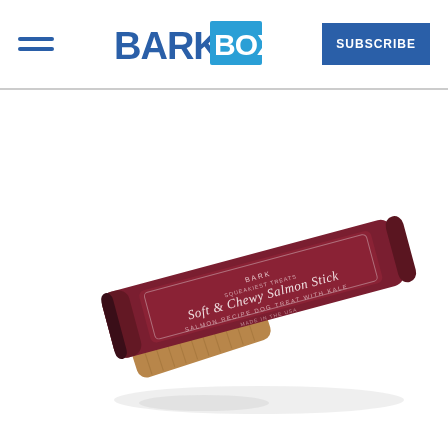BARKBOX | SUBSCRIBE
[Figure (photo): Product photo of a Soft & Chewy Salmon Stick dog treat in a dark red packaging, with a tan-colored chewy stick placed in front of the packaging. The label reads: Soft & Chewy Salmon Stick, Salmon Recipe Dog Treat with Kale, Made in the USA.]